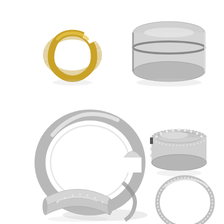[Figure (photo): Six jewelry rings arranged in a 2x3 grid on white background. Top-left: a gold/yellow gold open-style flat ring with curved notch. Top-right: a silver/white gold wide band ring with grooved center channel. Middle-left: a large silver plain round band ring shown at angle. Middle-right: a silver eternity band ring with small diamonds or stones around the band. Bottom-left: a silver chevron/wishbone shaped double band ring with small diamonds. Bottom-right: a thin silver eternity band ring with small stones.]